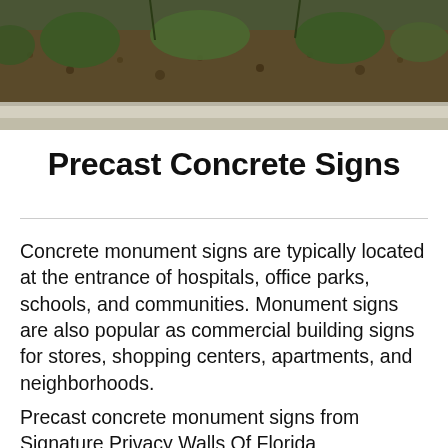[Figure (photo): Photograph showing a landscaped area with mulch, plants, and a concrete curb at the bottom, viewed from street level.]
Precast Concrete Signs
Concrete monument signs are typically located at the entrance of hospitals, office parks, schools, and communities. Monument signs are also popular as commercial building signs for stores, shopping centers, apartments, and neighborhoods.
Precast concrete monument signs from Signature Privacy Walls Of Florida